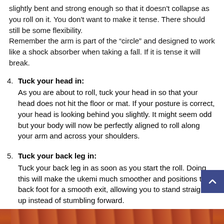slightly bent and strong enough so that it doesn't collapse as you roll on it. You don't want to make it tense. There should still be some flexibility.
Remember the arm is part of the “circle” and designed to work like a shock absorber when taking a fall. If it is tense it will break.
4. Tuck your head in: As you are about to roll, tuck your head in so that your head does not hit the floor or mat. If your posture is correct, your head is looking behind you slightly. It might seem odd but your body will now be perfectly aligned to roll along your arm and across your shoulders.
5. Tuck your back leg in: Tuck your back leg in as soon as you start the roll. Doing this will make the ukemi much smoother and positions the back foot for a smooth exit, allowing you to stand straight up instead of stumbling forward.
[Figure (photo): Partial photo strip at the bottom showing a reddish-brown scene, likely a judo or martial arts mat/training environment.]